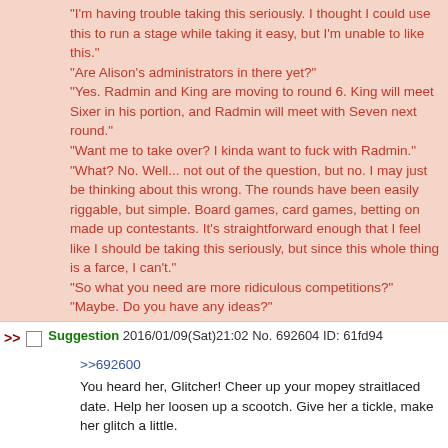"I'm having trouble taking this seriously. I thought I could use this to run a stage while taking it easy, but I'm unable to like this."
"Are Alison's administrators in there yet?"
"Yes. Radmin and King are moving to round 6. King will meet Sixer in his portion, and Radmin will meet with Seven next round."
"Want me to take over? I kinda want to fuck with Radmin."
"What? No. Well... not out of the question, but no. I may just be thinking about this wrong. The rounds have been easily riggable, but simple. Board games, card games, betting on made up contestants. It's straightforward enough that I feel like I should be taking this seriously, but since this whole thing is a farce, I can't."
"So what you need are more ridiculous competitions?"
"Maybe. Do you have any ideas?"
>> Suggestion 2016/01/09(Sat)21:02 No. 692604 ID: 61fd94
>>692600
You heard her, Glitcher! Cheer up your mopey straitlaced date. Help her loosen up a scootch. Give her a tickle, make her glitch a little.

(Cause it's adorable when she's got him straitened out and got her a little Glitched).